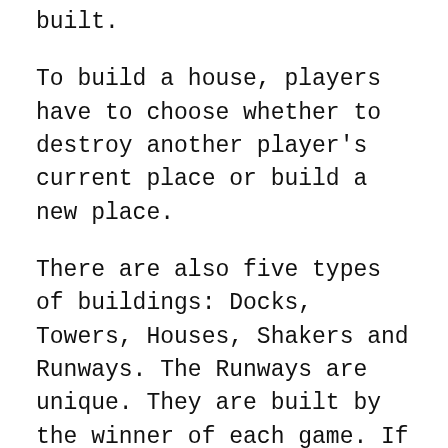built.
To build a house, players have to choose whether to destroy another player's current place or build a new place.
There are also five types of buildings: Docks, Towers, Houses, Shakers and Runways. The Runways are unique. They are built by the winner of each game. If the player that built a Runner has no more players, any Runner will go down on the ground with no buildings left on it.
Each house is different. It has a type, a house value and a location. By the